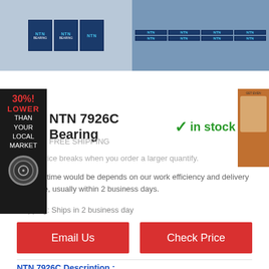[Figure (photo): Two photos of NTN bearing boxes: left shows multiple NTN brand bearing boxes stacked, right shows more NTN boxes stacked in a larger quantity]
[Figure (infographic): 30% LOWER THAN YOUR LOCAL MARKET promo banner on dark background with a bearing circle image]
[Figure (photo): Small advertisement image on right side showing a person]
NTN 7926C Bearing ✓ in stock
FREE SHIPPING
Lower price breaks when you order a larger quantify.
Leading time would be depends on our work efficiency and delivery schedule, usually within 2 business days.
Shipping: Ships in 2 business day
Email Us
Check Price
NTN 7926C Description :